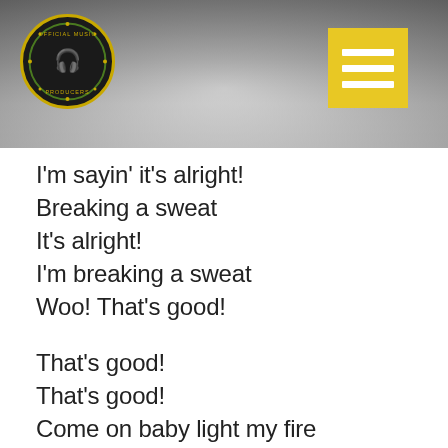[Figure (other): Header banner with a blurred vinyl record background in grayscale. Contains a circular logo/badge on the left with text 'Official Music Producers' and a headphones icon, and a yellow square menu button on the right with three white horizontal lines.]
I'm sayin' it's alright!
Breaking a sweat
It's alright!
I'm breaking a sweat
Woo! That's good!

That's good!
That's good!
Come on baby light my fire

That's good!
That's good!
Robington!